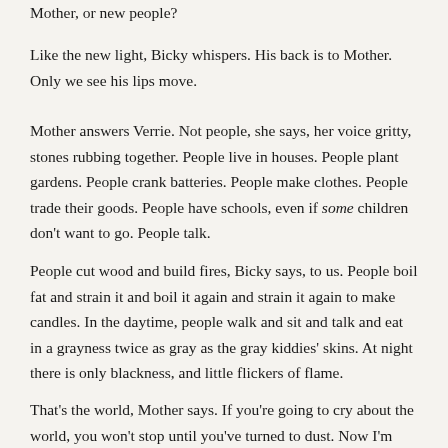Mother, or new people?
Like the new light, Bicky whispers. His back is to Mother. Only we see his lips move.
Mother answers Verrie. Not people, she says, her voice gritty, stones rubbing together. People live in houses. People plant gardens. People crank batteries. People make clothes. People trade their goods. People have schools, even if some children don't want to go. People talk.
People cut wood and build fires, Bicky says, to us. People boil fat and strain it and boil it again and strain it again to make candles. In the daytime, people walk and sit and talk and eat in a grayness twice as gray as the gray kiddies' skins. At night there is only blackness, and little flickers of flame.
That's the world, Mother says. If you're going to cry about the world, you won't stop until you've turned to dust. Now I'm